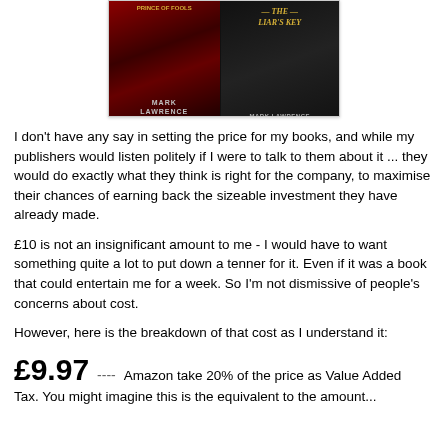[Figure (photo): Two book covers side by side: 'Prince of Fools' (red cover) and 'The Liar's Key' (dark cover), both by Mark Lawrence]
I don't have any say in setting the price for my books, and while my publishers would listen politely if I were to talk to them about it ... they would do exactly what they think is right for the company, to maximise their chances of earning back the sizeable investment they have already made.
£10 is not an insignificant amount to me - I would have to want something quite a lot to put down a tenner for it. Even if it was a book that could entertain me for a week. So I'm not dismissive of people's concerns about cost.
However, here is the breakdown of that cost as I understand it:
£9.97  ----  Amazon take 20% of the price as Value Added Tax. You might imagine this is the equivalent to the amount...